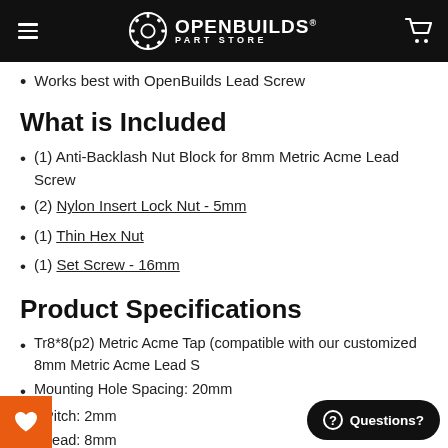OPENBUILDS PART STORE
Works best with OpenBuilds Lead Screw
What is Included
(1) Anti-Backlash Nut Block for 8mm Metric Acme Lead Screw
(2) Nylon Insert Lock Nut - 5mm
(1) Thin Hex Nut
(1) Set Screw - 16mm
Product Specifications
Tr8*8(p2) Metric Acme Tap (compatible with our customized 8mm Metric Acme Lead Screw)
Mounting Hole Spacing: 20mm
Pitch: 2mm
Lead: 8mm